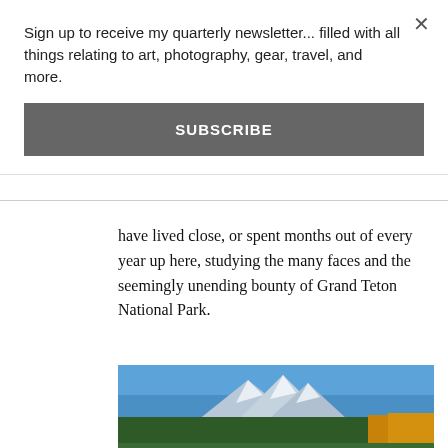Sign up to receive my quarterly newsletter... filled with all things relating to art, photography, gear, travel, and more.
SUBSCRIBE
have lived close, or spent months out of every year up here, studying the many faces and the seemingly unending bounty of Grand Teton National Park.
[Figure (photo): Mountain landscape photograph showing Grand Teton peaks with snow-capped summits, dense evergreen forest in the foreground, autumn yellow trees on the right, and a blue sky above.]